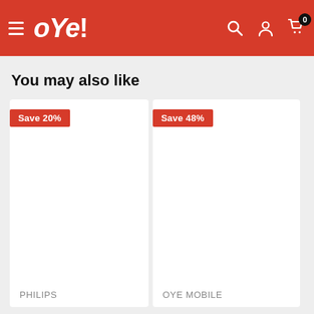oYe! — navigation header with hamburger menu, logo, search, account, and cart icons
You may also like
[Figure (screenshot): Product card with 'Save 20%' badge, white image area, brand label PHILIPS]
[Figure (screenshot): Product card with 'Save 48%' badge, white image area, brand label OYE MOBILE]